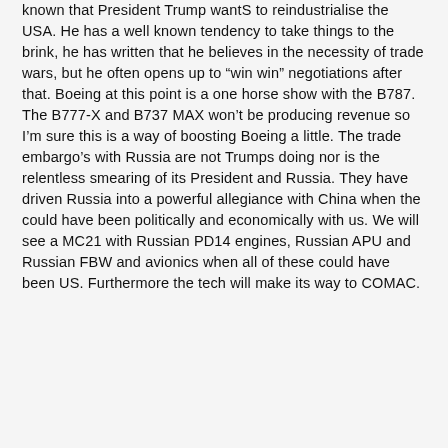known that President Trump wantS to reindustrialise the USA. He has a well known tendency to take things to the brink, he has written that he believes in the necessity of trade wars, but he often opens up to “win win” negotiations after that. Boeing at this point is a one horse show with the B787. The B777-X and B737 MAX won’t be producing revenue so I’m sure this is a way of boosting Boeing a little. The trade embargo’s with Russia are not Trumps doing nor is the relentless smearing of its President and Russia. They have driven Russia into a powerful allegiance with China when the could have been politically and economically with us. We will see a MC21 with Russian PD14 engines, Russian APU and Russian FBW and avionics when all of these could have been US. Furthermore the tech will make its way to COMAC.